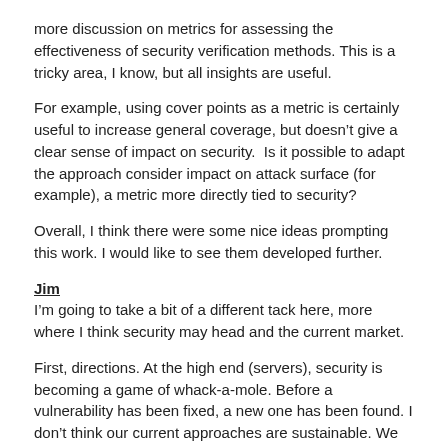more discussion on metrics for assessing the effectiveness of security verification methods. This is a tricky area, I know, but all insights are useful.
For example, using cover points as a metric is certainly useful to increase general coverage, but doesn't give a clear sense of impact on security.  Is it possible to adapt the approach consider impact on attack surface (for example), a metric more directly tied to security?
Overall, I think there were some nice ideas prompting this work. I would like to see them developed further.
Jim
I'm going to take a bit of a different tack here, more where I think security may head and the current market.
First, directions. At the high end (servers), security is becoming a game of whack-a-mole. Before a vulnerability has been fixed, a new one has been found. I don't think our current approaches are sustainable. We need to be looking at more vulnerability-tolerant architectures.
At the low end (IoT), decent security is better than none so still plenty of